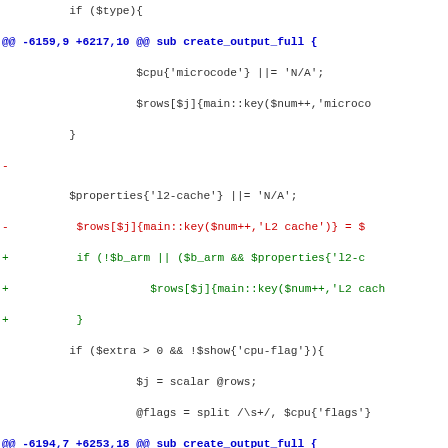[Figure (screenshot): A unified diff / patch file showing changes to a Perl script. Lines are color-coded: blue/bold for hunk headers, red for removed lines, green for added lines, and dark for context lines. The diff shows modifications to a 'create_output_full' subroutine, involving changes to L2 cache handling and core speeds value logic.]